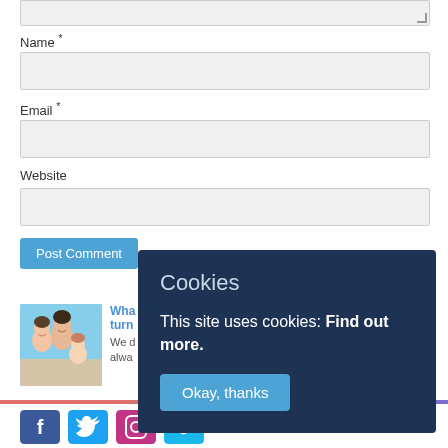[Figure (screenshot): Textarea input box (top of form, partially visible with resize handle)]
Name *
[Figure (screenshot): Name input field (empty, light gray background)]
Email *
[Figure (screenshot): Email input field (empty, light gray background)]
Website
[Figure (screenshot): Website input field (empty, light gray background)]
[Figure (screenshot): Post Comment button (blue)]
[Figure (photo): Family photo thumbnail showing adults and child smiling]
Wha... turn... We d... alwa...
[Figure (screenshot): Cookie consent overlay with title 'Cookies', body text 'This site uses cookies: Find out more.', and 'Okay, thanks' button]
[Figure (screenshot): Social media icons: Facebook, Twitter, Instagram, Vimeo]